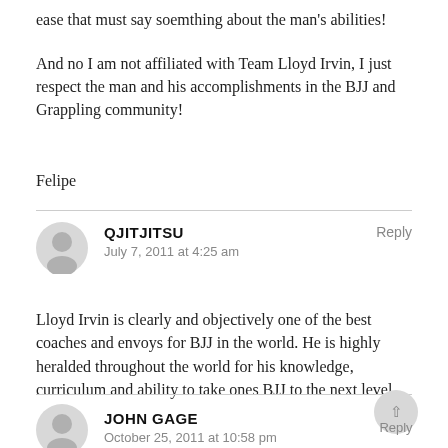ease that must say soemthing about the man's abilities!
And no I am not affiliated with Team Lloyd Irvin, I just respect the man and his accomplishments in the BJJ and Grappling community!
Felipe
QJITJITSU
July 7, 2011 at 4:25 am
Reply
Lloyd Irvin is clearly and objectively one of the best coaches and envoys for BJJ in the world. He is highly heralded throughout the world for his knowledge, curriculum and ability to take ones BJJ to the next level.
JOHN GAGE
October 25, 2011 at 10:58 pm
Reply